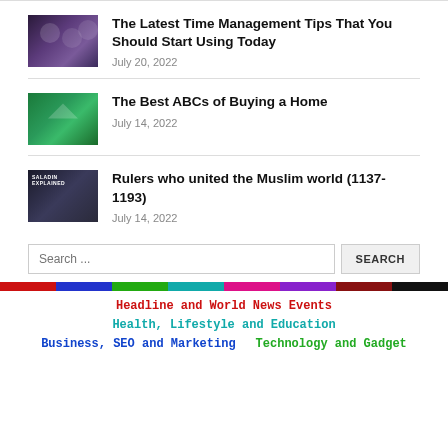The Latest Time Management Tips That You Should Start Using Today
July 20, 2022
The Best ABCs of Buying a Home
July 14, 2022
Rulers who united the Muslim world (1137-1193)
July 14, 2022
Search ...
Headline and World News Events
Health, Lifestyle and Education
Business, SEO and Marketing
Technology and Gadget